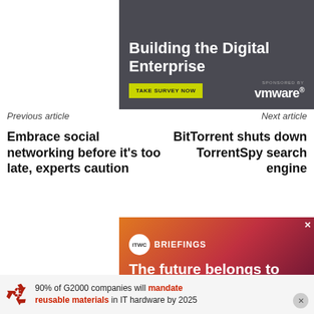[Figure (screenshot): Advertisement banner for 'Building the Digital Enterprise' survey sponsored by VMware. Dark gray background with white bold title, yellow-green 'TAKE SURVEY NOW' button, and VMware logo.]
Previous article
Next article
Embrace social networking before it's too late, experts caution
BitTorrent shuts down TorrentSpy search engine
[Figure (screenshot): ITWC Briefings advertisement with orange-to-red gradient background. Shows ITWC logo circle, 'BRIEFINGS' text, and headline 'The future belongs to...' (partially visible).]
[Figure (infographic): Bottom sticky banner: recycle icon, text '90% of G2000 companies will mandate reusable materials in IT hardware by 2025' with 'mandate' and 'reusable materials' highlighted in red. Close button on right.]